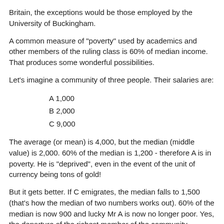Britain, the exceptions would be those employed by the University of Buckingham.
A common measure of "poverty" used by academics and other members of the ruling class is 60% of median income. That produces some wonderful possibilities.
Let's imagine a community of three people. Their salaries are:
A 1,000
B 2,000
C 9,000
The average (or mean) is 4,000, but the median (middle value) is 2,000. 60% of the median is 1,200 - therefore A is in poverty. He is "deprived", even in the event of the unit of currency being tons of gold!
But it gets better. If C emigrates, the median falls to 1,500 (that's how the median of two numbers works out). 60% of the median is now 900 and lucky Mr A is now no longer poor. Yes, the departure of the richest member of the community